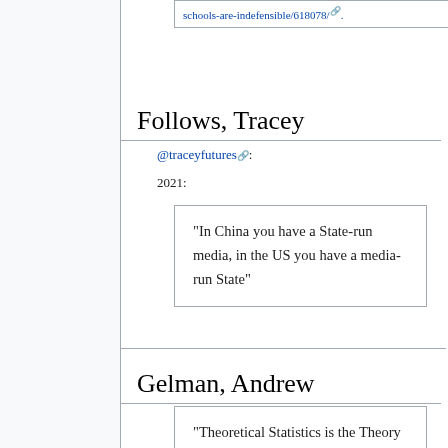schools-are-indefensible/618078/
Follows, Tracey
@traceyfutures:
2021:
“In China you have a State-run media, in the US you have a media-run State”
Gelman, Andrew
"Theoretical Statistics is the Theory of Applied Statistics"